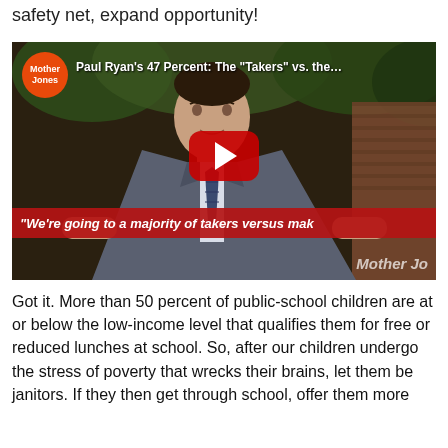safety net, expand opportunity!
[Figure (screenshot): YouTube video thumbnail from Mother Jones showing Paul Ryan speaking at a podium. Title reads: Paul Ryan's 47 Percent: The "Takers" vs. the... A red play button is centered on the image. A red caption bar at the bottom reads: "We're going to a majority of takers versus mak... The Mother Jones logo appears top-left and watermark bottom-right.]
Got it. More than 50 percent of public-school children are at or below the low-income level that qualifies them for free or reduced lunches at school. So, after our children undergo the stress of poverty that wrecks their brains, let them be janitors. If they then get through school, offer them more opportunity!